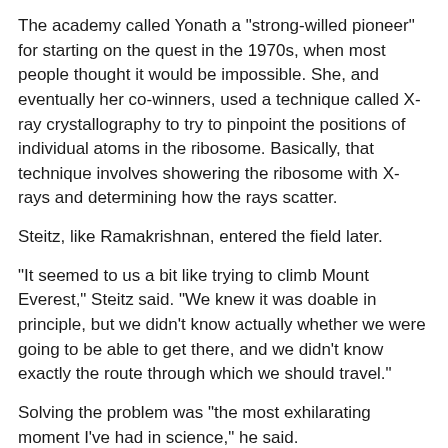The academy called Yonath a "strong-willed pioneer" for starting on the quest in the 1970s, when most people thought it would be impossible. She, and eventually her co-winners, used a technique called X-ray crystallography to try to pinpoint the positions of individual atoms in the ribosome. Basically, that technique involves showering the ribosome with X-rays and determining how the rays scatter.
Steitz, like Ramakrishnan, entered the field later.
"It seemed to us a bit like trying to climb Mount Everest," Steitz said. "We knew it was doable in principle, but we didn't know actually whether we were going to be able to get there, and we didn't know exactly the route through which we should travel."
Solving the problem was "the most exhilarating moment I've had in science," he said.
A detailed description of the ribosome is important because it gives insights into how the structure works, said Rachel Green, who studies ribosomes at the Johns Hopkins University School of Medicine in Baltimore.